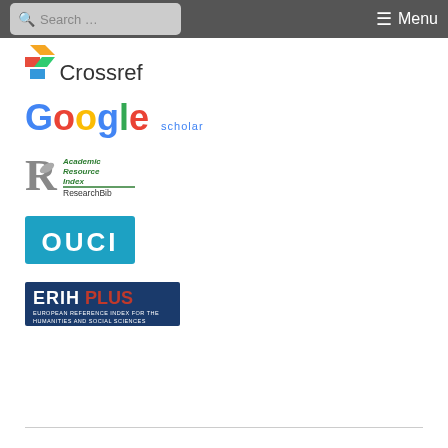Search ... Menu
[Figure (logo): Crossref logo with colored angular symbol and 'Crossref' text]
[Figure (logo): Google Scholar logo with colorful Google text and 'scholar' subtitle]
[Figure (logo): Academic Resource Index ResearchBib logo with R icon and italic text]
[Figure (logo): OUCI logo - blue rectangle with white OUCI text]
[Figure (logo): ERIH PLUS logo - dark blue rectangle with ERIH PLUS text and subtitle European Reference Index for the Humanities and Social Sciences]